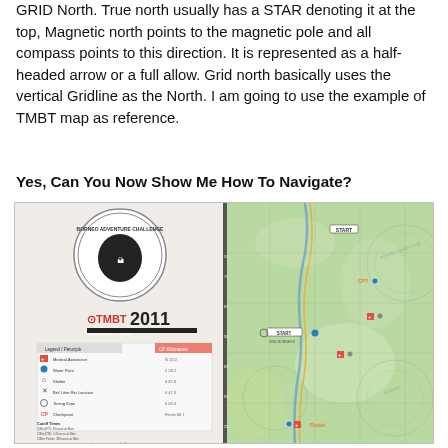GRID North. True north usually has a STAR denoting it at the top, Magnetic north points to the magnetic pole and all compass points to this direction. It is represented as a half-headed arrow or a full allow. Grid north basically uses the vertical Gridline as the North. I am going to use the example of TMBT map as reference.
Yes, Can You Now Show Me How To Navigate?
[Figure (map): TMBT 2011 adventure challenge map showing a topographic map with route markers, checkpoints, start/finish locations, and a legend. The map includes a Borneo Adventure Challenge logo and shows terrain with green forested areas, elevation contours, and colored route markers.]